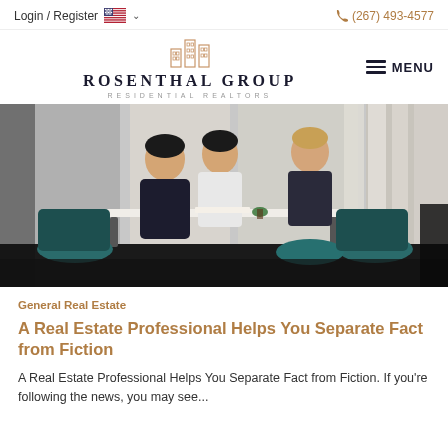Login / Register   🇺🇸 ∨   (267) 493-4577
[Figure (logo): Rosenthal Group Residential Realtors logo with building icon and MENU button]
[Figure (photo): Three people meeting at a table in a modern office/café setting — two clients and a real estate professional reviewing documents]
General Real Estate
A Real Estate Professional Helps You Separate Fact from Fiction
A Real Estate Professional Helps You Separate Fact from Fiction. If you're following the news, you may see...